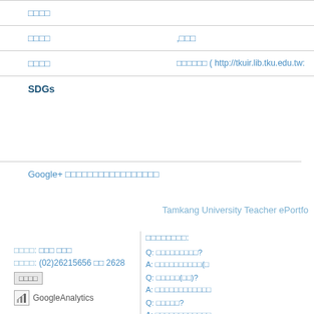| □□□□ |  |
| □□□□ | ,□□□ |
| □□□□ | □□□□□□ ( http://tkuir.lib.tku.edu.tw:... |
| SDGs |  |
Google+ □□□□□□□□□□□□□□□□□
Tamkang University Teacher ePortfo...
□□□□: □□□ □□□
□□□□: (02)26215656 □□ 2628
□□□□
[Figure (logo): GoogleAnalytics logo with chart icon]
□□□□□□□□:
Q: □□□□□□□□□?
A: □□□□□□□□□□(□...
Q: □□□□□(□□)?
A: □□□□□□□□□□□□
Q: □□□□□?
A: □□□□□□□□□□□□